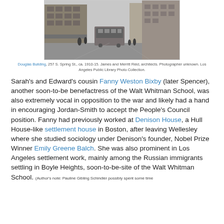[Figure (photo): Black and white historical photograph of Douglas Building at 257 S. Spring St., Los Angeles, ca. 1910-15, showing a street scene with a trolley/streetcar, pedestrians, and multi-story commercial buildings lining both sides of the street.]
Douglas Building, 257 S. Spring St., ca. 1910-15. James and Merritt Reid, architects. Photographer unknown. Los Angeles Public Library Photo Collection.
Sarah's and Edward's cousin Fanny Weston Bixby (later Spencer), another soon-to-be benefactress of the Walt Whitman School, was also extremely vocal in opposition to the war and likely had a hand in encouraging Jordan-Smith to accept the People's Council position. Fanny had previously worked at Denison House, a Hull House-like settlement house in Boston, after leaving Wellesley where she studied sociology under Denison's founder, Nobel Prize Winner Emily Greene Balch. She was also prominent in Los Angeles settlement work, mainly among the Russian immigrants settling in Boyle Heights, soon-to-be-site of the Walt Whitman School. (Author's note: Pauline Gibling Schindler possibly spent some time at Denison, on the way to it, or had a related Smith College/Wellesley connection...)